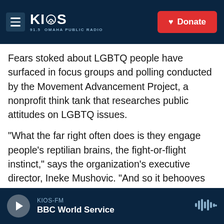KIOS 91.5 OMAHA PUBLIC RADIO | Donate
Fears stoked about LGBTQ people have surfaced in focus groups and polling conducted by the Movement Advancement Project, a nonprofit think tank that researches public attitudes on LGBTQ issues.
"What the far right often does is they engage people's reptilian brains, the fight-or-flight instinct," says the organization's executive director, Ineke Mushovic. "And so it behooves far-right conservatives to put people in a state of fear, because then they're reactive. They don't support change."
KIOS-FM | BBC World Service